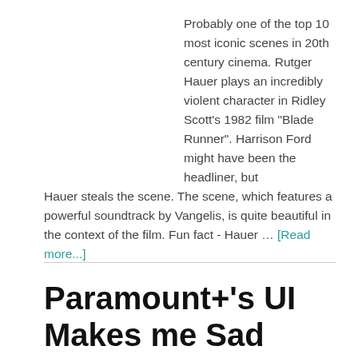Probably one of the top 10 most iconic scenes in 20th century cinema. Rutger Hauer plays an incredibly violent character in Ridley Scott's 1982 film "Blade Runner". Harrison Ford might have been the headliner, but Hauer steals the scene. The scene, which features a powerful soundtrack by Vangelis, is quite beautiful in the context of the film. Fun fact - Hauer … [Read more...]
Paramount+'s UI Makes me Sad